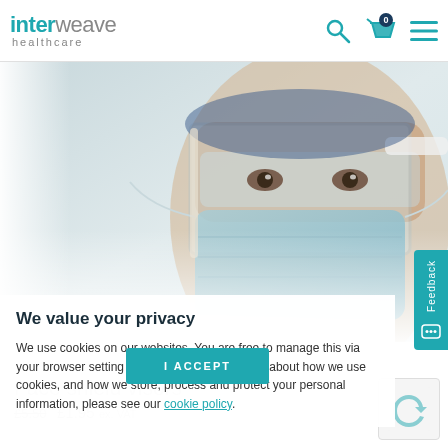interweave healthcare
[Figure (photo): Close-up photo of a healthcare worker wearing a blue surgical face mask and a clear face shield visor, with blue surgical cap visible in background.]
We value your privacy
We use cookies on our websites. You are free to manage this via your browser setting at any time. To learn more about how we use cookies, and how we store, process and protect your personal information, please see our cookie policy.
I ACCEPT
Face shield visors
£5.50  £1.95 ex. VAT